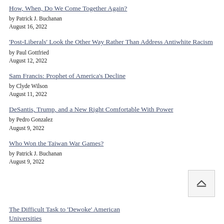How, When, Do We Come Together Again?
by Patrick J. Buchanan
August 16, 2022
'Post-Liberals' Look the Other Way Rather Than Address Antiwhite Racism
by Paul Gottfried
August 12, 2022
Sam Francis: Prophet of America's Decline
by Clyde Wilson
August 11, 2022
DeSantis, Trump, and a New Right Comfortable With Power
by Pedro Gonzalez
August 9, 2022
Who Won the Taiwan War Games?
by Patrick J. Buchanan
August 9, 2022
The Difficult Task to 'Dewoke' American Universities